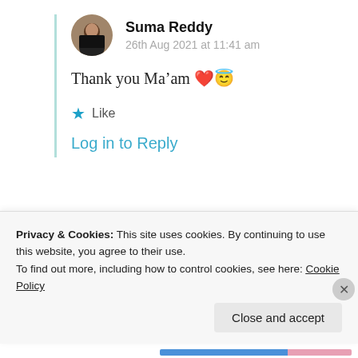Suma Reddy
26th Aug 2021 at 11:41 am
Thank you Ma’am ❤️😇
★ Like
Log in to Reply
vishalbheeroo
Privacy & Cookies: This site uses cookies. By continuing to use this website, you agree to their use.
To find out more, including how to control cookies, see here: Cookie Policy
Close and accept